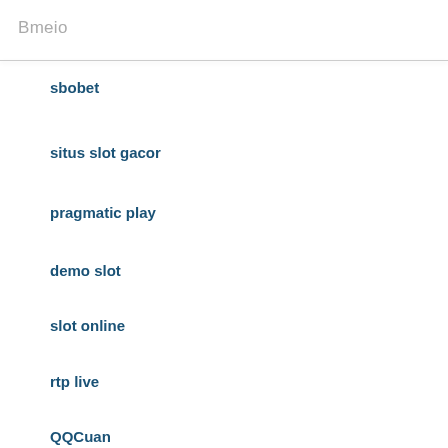Bmeio
sbobet
situs slot gacor
pragmatic play
demo slot
slot online
rtp live
QQCuan
Obor 138 Slot